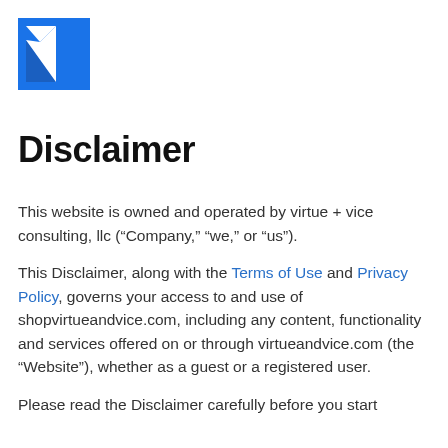[Figure (logo): Blue square logo with white triangle/arrow shapes forming a stylized K or flag mark]
Disclaimer
This website is owned and operated by virtue + vice consulting, llc (“Company,” “we,” or “us”).
This Disclaimer, along with the Terms of Use and Privacy Policy, governs your access to and use of shopvirtueandvice.com, including any content, functionality and services offered on or through virtueandvice.com (the “Website”), whether as a guest or a registered user.
Please read the Disclaimer carefully before you start